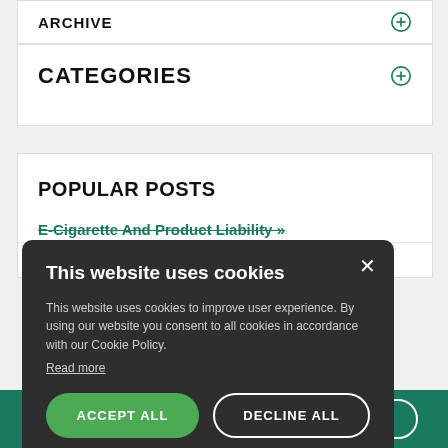ARCHIVE
CATEGORIES
POPULAR POSTS
E-Cigarette And Product Liability »
Valley:
[Figure (screenshot): Cookie consent modal overlay with dark background, title 'This website uses cookies', body text, Read more link, and two buttons: ACCEPT ALL and DECLINE ALL]
This website uses cookies
This website uses cookies to improve user experience. By using our website you consent to all cookies in accordance with our Cookie Policy. Read more
ACCEPT ALL
DECLINE ALL
NOW